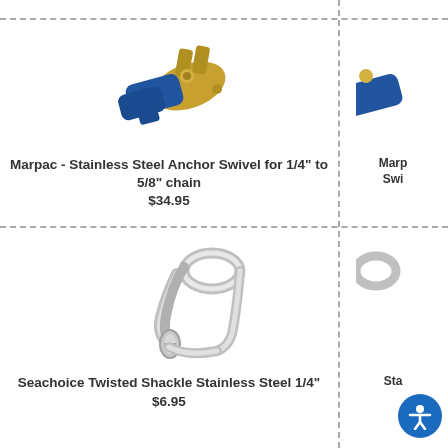[Figure (photo): Stainless Steel Anchor Swivel hardware piece, blue and gold metal swivel connector]
Marpac - Stainless Steel Anchor Swivel for 1/4" to 5/8" chain
$34.95
[Figure (photo): Partial view of a similar Marpac Stainless Steel Anchor Swivel product]
[Figure (photo): Seachoice Twisted Shackle Stainless Steel 1/4" hardware piece, silver metal]
Seachoice Twisted Shackle Stainless Steel 1/4"
$6.95
[Figure (photo): Partial view of another stainless steel hardware product]